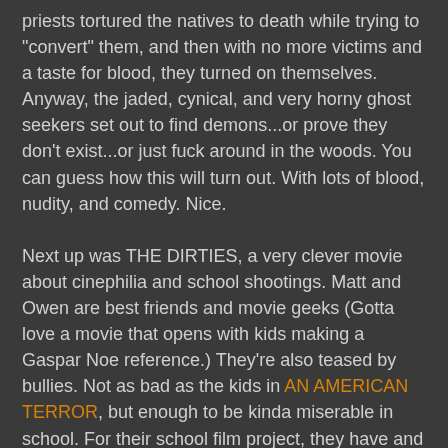priests tortured the natives to death while trying to 'convert' them, and then with no more victims and a taste for blood, they turned on themselves. Anyway, the jaded, cynical, and very horny ghost seekers set out to find demons...or prove they don't exist...or just fuck around in the woods. You can guess how this will turn out. With lots of blood, nudity, and comedy. Nice.

Next up was THE DIRTIES, a very clever movie about cinephilia and school shootings. Matt and Owen are best friends and movie geeks (Gotta love a movie that opens with kids making a Gaspar Noe reference.) They're also teased by bullies. Not as bad as the kids in AN AMERICAN TERROR, but enough to be kinda miserable in school. For their school film project, they have and idea for a film called THE DIRTIES. The titular Dirties are a gang of bullies at school, and Matt and Owen will play the heroes who take them down in an orgy of violence. And it's pretty funny how they steal footage at school for use in their movie. But when their teacher nixes a rough cut of their film...reality and fantasy blur, as it looks like Matt might just take it to the next level. I can't help but make a comparison to AN AMERICAN TERROR, because I loved both movies, they're both about